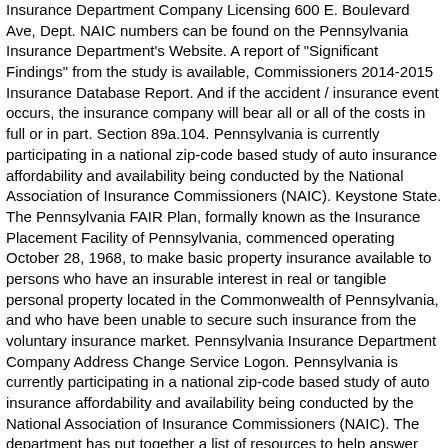Insurance Department Company Licensing 600 E. Boulevard Ave, Dept. NAIC numbers can be found on the Pennsylvania Insurance Department's Website. A report of "Significant Findings" from the study is available, Commissioners 2014-2015 Insurance Database Report. And if the accident / insurance event occurs, the insurance company will bear all or all of the costs in full or in part. Section 89a.104. Pennsylvania is currently participating in a national zip-code based study of auto insurance affordability and availability being conducted by the National Association of Insurance Commissioners (NAIC). Keystone State. The Pennsylvania FAIR Plan, formally known as the Insurance Placement Facility of Pennsylvania, commenced operating October 28, 1968, to make basic property insurance available to persons who have an insurable interest in real or tangible personal property located in the Commonwealth of Pennsylvania, and who have been unable to secure such insurance from the voluntary insurance market. Pennsylvania Insurance Department Company Address Change Service Logon. Pennsylvania is currently participating in a national zip-code based study of auto insurance affordability and availability being conducted by the National Association of Insurance Commissioners (NAIC). The department has put together a list of resources to help answer your questions and help you understand your options. report may differ from previous reports, as updated information from insurers Appointed